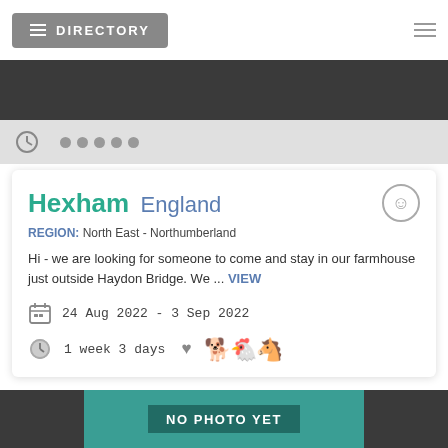DIRECTORY
[Figure (screenshot): Dark navigation band below header]
[Figure (screenshot): Gray toolbar strip with clock icon and five dots]
Hexham England
REGION: North East - Northumberland
Hi - we are looking for someone to come and stay in our farmhouse just outside Haydon Bridge. We ... VIEW
24 Aug 2022 - 3 Sep 2022
1 week 3 days
[Figure (photo): Bottom image area with teal background showing NO PHOTO YET overlay text]